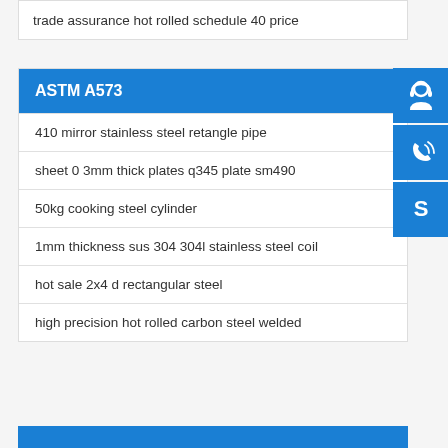trade assurance hot rolled schedule 40 price
ASTM A573
410 mirror stainless steel retangle pipe
sheet 0 3mm thick plates q345 plate sm490
50kg cooking steel cylinder
1mm thickness sus 304 304l stainless steel coil
hot sale 2x4 d rectangular steel
high precision hot rolled carbon steel welded
[Figure (illustration): Three side icons: customer service headset, phone with signal waves, and Skype logo, each in a blue square button]
[Figure (other): Blue bar at bottom of page]